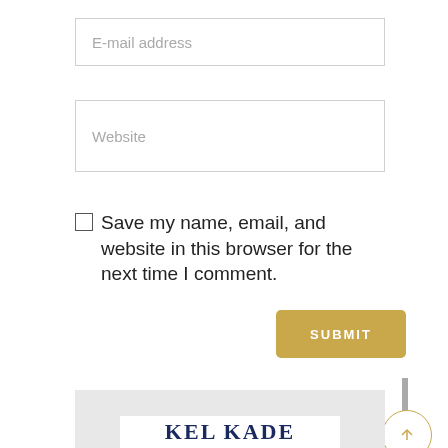E-mail address
Website
Save my name, email, and website in this browser for the next time I comment.
SUBMIT
Search Here
[Figure (logo): KEL KADE logo in dark navy serif font on white background]
KEL KADE